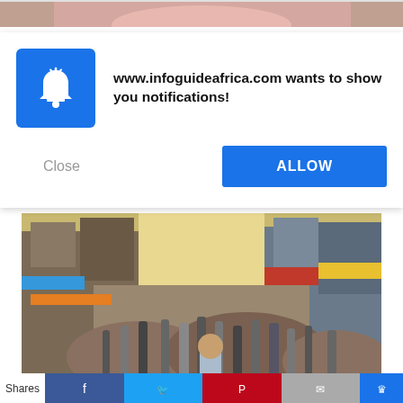[Figure (photo): Top strip showing a partial photo of a person's face]
[Figure (screenshot): Browser notification dialog from www.infoguideafrica.com asking to show notifications, with Close and ALLOW buttons]
www.infoguideafrica.com wants to show you notifications!
[Figure (photo): A crowded street scene in a densely populated city, with tall buildings on both sides and a large crowd of people walking]
Top 10 Most Populated Cities In The World
Shares